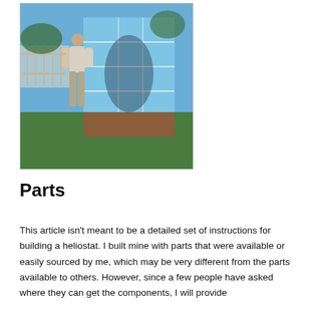[Figure (photo): A person standing outdoors on a lawn holding or leaning against a large heliostat mirror panel made of multiple mirror tiles on a wooden frame. A white picket fence and trees are visible in the background. The mirror reflects a blue sky.]
Parts
This article isn't meant to be a detailed set of instructions for building a heliostat. I built mine with parts that were available or easily sourced by me, which may be very different from the parts available to others. However, since a few people have asked where they can get the components, I will provide